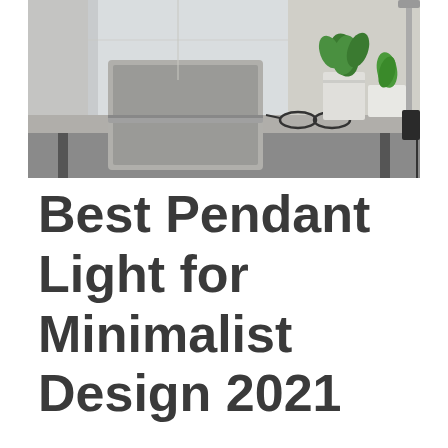[Figure (photo): A minimalist desk scene with a laptop, green potted plant, glasses, and a desk lamp, photographed in natural light from a window in the background.]
Best Pendant Light for Minimalist Design 2021